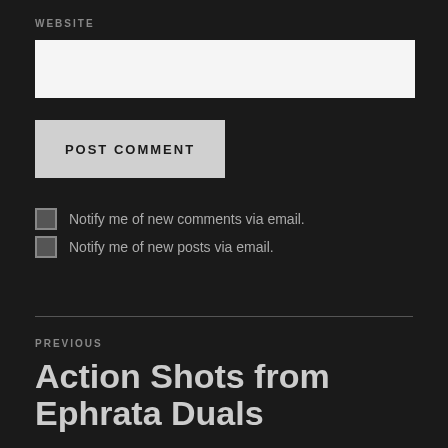WEBSITE
[Figure (screenshot): Empty white input text field for website URL]
POST COMMENT
Notify me of new comments via email.
Notify me of new posts via email.
PREVIOUS
Action Shots from Ephrata Duals